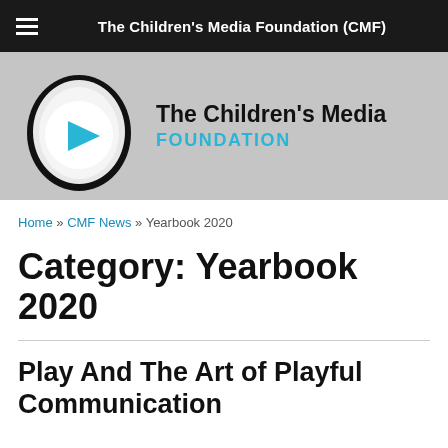The Children's Media Foundation (CMF)
[Figure (logo): The Children's Media Foundation logo: an egg-shaped icon with a blue play triangle on white background, beside bold text 'The Children's Media' and 'FOUNDATION' in cyan/teal on a grey banner]
Home » CMF News » Yearbook 2020
Category: Yearbook 2020
Play And The Art of Playful Communication